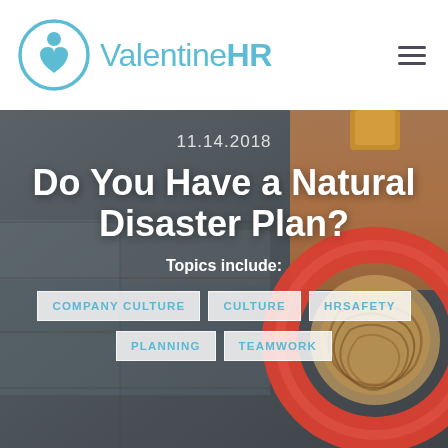[Figure (logo): ValentineHR logo: teal circle with person/heart icon, teal text reading ValentineHR]
[Figure (illustration): Hamburger menu icon (three horizontal lines) in dark gray]
11.14.2018
Do You Have a Natural Disaster Plan?
Topics include:
COMPANY CULTURE
CULTURE
HRSAFETY
PLANNING
TEAMWORK